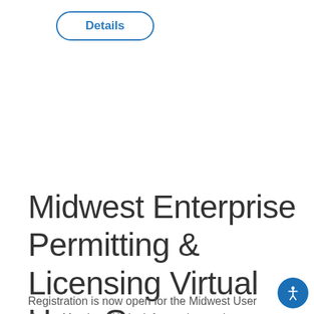[Figure (other): A rounded rectangle button with blue border and blue text reading 'Details']
Midwest Enterprise Permitting & Licensing Virtual User Group Meeting
Registration is now open for the Midwest User Group Meeting. We look forward to seeing you